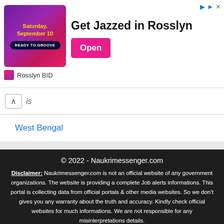[Figure (screenshot): Advertisement banner for 'Get Jazzed in Rosslyn' event on Saturday September 10, with pink/purple imagery and Open button]
Rosslyn BID
is
West Bengal
© 2022 - Naukrimessenger.com
Disclaimer: Naukrimessenger.com is not an official website of any government organizations. The website is providing a complete Job alerts informations. This portal is collecting data from official portals & other media websites. So we don't gives you any warranty about the truth and accuracy. Kindly check official websites for much informations. We are not responsible for any misinterpretations details.